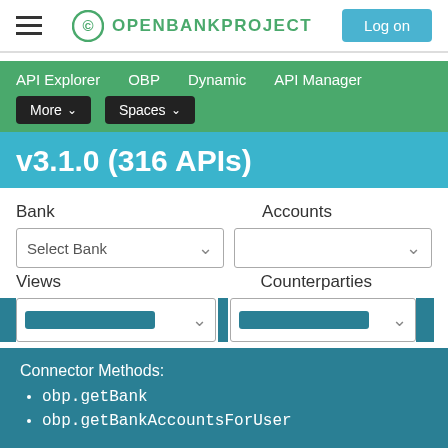OPENBANKPROJECT  Log on
API Explorer  OBP  Dynamic  API Manager  More  Spaces
v3.1.0 (316 APIs)
Bank  Accounts  Select Bank  Views  Counterparties
Connector Methods:
• obp.getBank
• obp.getBankAccountsForUser